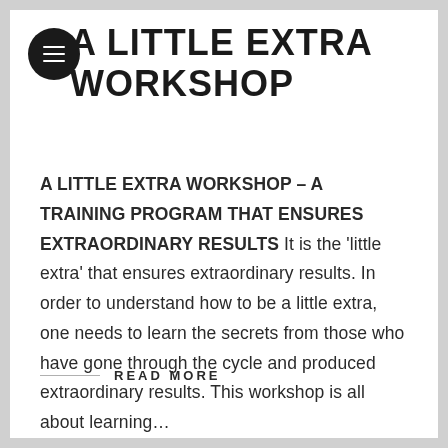A LITTLE EXTRA WORKSHOP
A LITTLE EXTRA WORKSHOP – A TRAINING PROGRAM THAT ENSURES EXTRAORDINARY RESULTS It is the 'little extra' that ensures extraordinary results. In order to understand how to be a little extra, one needs to learn the secrets from those who have gone through the cycle and produced extraordinary results. This workshop is all about learning…
READ MORE